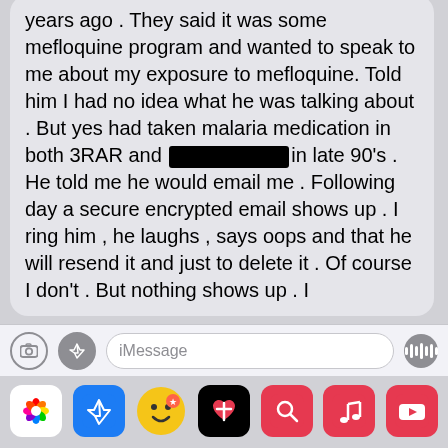years ago . They said it was some mefloquine program and wanted to speak to me about my exposure to mefloquine. Told him I had no idea what he was talking about . But yes had taken malaria medication in both 3RAR and [REDACTED] in late 90's . He told me he would email me . Following day a secure encrypted email shows up . I ring him , he laughs , says oops and that he will resend it and just to delete it . Of course I don't . But nothing shows up . I
[Figure (screenshot): iMessage input bar with camera icon, App Store icon, iMessage text field, and voice recording button]
[Figure (screenshot): iOS dock with Photos, App Store, Emoji, Heart app, Search, Music, and YouTube app icons]